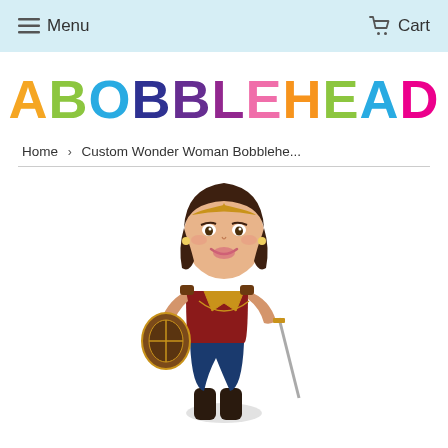Menu   Cart
[Figure (logo): ABOBBLEHEAD colorful rainbow logo text]
Home › Custom Wonder Woman Bobblehe...
[Figure (photo): Custom Wonder Woman bobblehead figurine with shield and sword, custom face, wearing Wonder Woman costume]